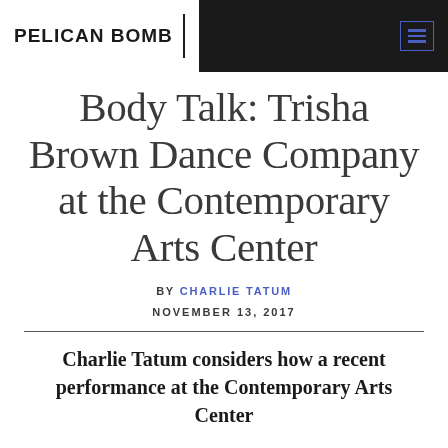PELICAN BOMB
Body Talk: Trisha Brown Dance Company at the Contemporary Arts Center
BY CHARLIE TATUM
NOVEMBER 13, 2017
Charlie Tatum considers how a recent performance at the Contemporary Arts Center